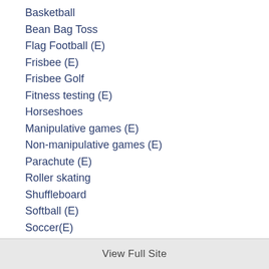Basketball
Bean Bag Toss
Flag Football (E)
Frisbee (E)
Frisbee Golf
Fitness testing (E)
Horseshoes
Manipulative games (E)
Non-manipulative games (E)
Parachute (E)
Roller skating
Shuffleboard
Softball (E)
Soccer(E)
scooters (E)
Table tennis
Team Handball (E)
View Full Site